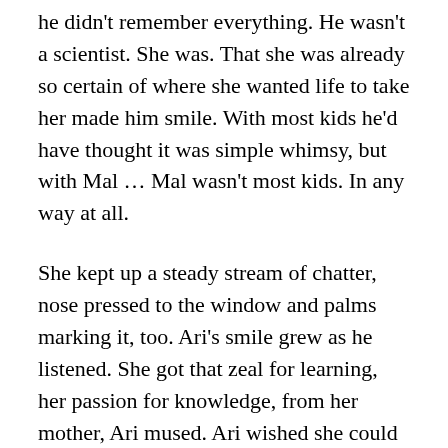he didn't remember everything. He wasn't a scientist. She was. That she was already so certain of where she wanted life to take her made him smile. With most kids he'd have thought it was simple whimsy, but with Mal … Mal wasn't most kids. In any way at all.
She kept up a steady stream of chatter, nose pressed to the window and palms marking it, too. Ari's smile grew as he listened. She got that zeal for learning, her passion for knowledge, from her mother, Ari mused. Ari wished she could have really known her mother. But, he supposed, she didn't seem to know she was missing anything. He did his best to love her enough for both of them.
As the moose meandered back toward the tree...